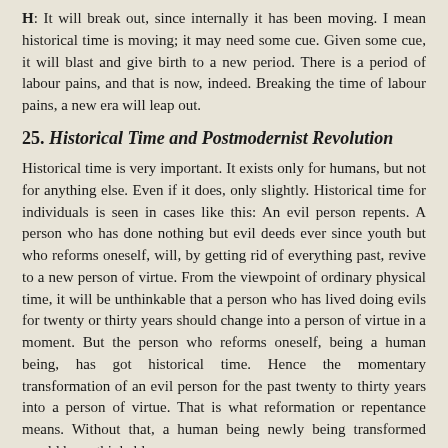H: It will break out, since internally it has been moving. I mean historical time is moving; it may need some cue. Given some cue, it will blast and give birth to a new period. There is a period of labour pains, and that is now, indeed. Breaking the time of labour pains, a new era will leap out.
25. Historical Time and Postmodernist Revolution
Historical time is very important. It exists only for humans, but not for anything else. Even if it does, only slightly. Historical time for individuals is seen in cases like this: An evil person repents. A person who has done nothing but evil deeds ever since youth but who reforms oneself, will, by getting rid of everything past, revive to a new person of virtue. From the viewpoint of ordinary physical time, it will be unthinkable that a person who has lived doing evils for twenty or thirty years should change into a person of virtue in a moment. But the person who reforms oneself, being a human being, has got historical time. Hence the momentary transformation of an evil person for the past twenty to thirty years into a person of virtue. That is what reformation or repentance means. Without that, a human being newly being transformed would be unthinkable.
Considered from physical time, never will things of the past perish